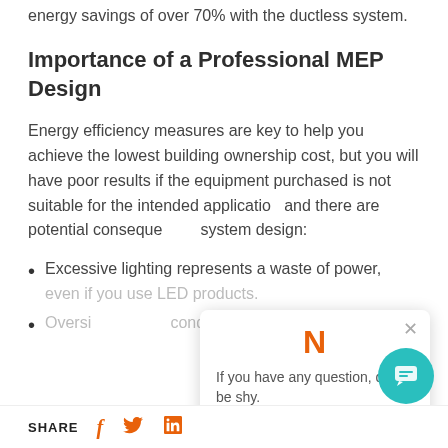energy savings of over 70% with the ductless system.
Importance of a Professional MEP Design
Energy efficiency measures are key to help you achieve the lowest building ownership cost, but you will have poor results if the equipment purchased is not suitable for the intended application and there are potential consequences of poor MEP system design:
Excessive lighting represents a waste of power, even if you use LED products.
Oversized air-conditioning systems...
[Figure (other): Chat popup overlay with orange N icon and message 'If you have any question, don't be shy.' with a close button]
[Figure (other): Teal circular chat button in bottom right corner]
SHARE  f  twitter  in